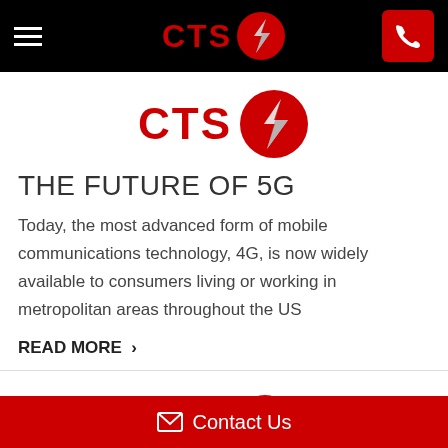CTS logo navigation bar with hamburger menu and phone button
[Figure (logo): CTS logo with red circle and lightning bolt, centered below nav bar]
THE FUTURE OF 5G
Today, the most advanced form of mobile communications technology, 4G, is now widely available to consumers living or working in metropolitan areas throughout the US
READ MORE >
[Figure (logo): CTS logo partial at bottom of page]
Contact Us